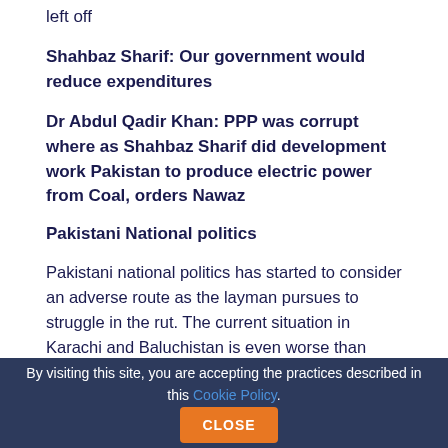left off
Shahbaz Sharif: Our government would reduce expenditures
Dr Abdul Qadir Khan: PPP was corrupt where as Shahbaz Sharif did development work Pakistan to produce electric power from Coal, orders Nawaz
Pakistani National politics
Pakistani national politics has started to consider an adverse route as the layman pursues to struggle in the rut. The current situation in Karachi and Baluchistan is even worse than ever. The responsibility of these riots clearly is definitely on political figures who are only manipulating several groups to get benefits for themselves. In the event the current personal situation in Pakistan would not change, the region would continue on suffering as a result of monarchs and waderas! The role of youth in politics seems to be missing from this scenario and wishes to be viewed if
By visiting this site, you are accepting the practices described in this Cookie Policy. CLOSE